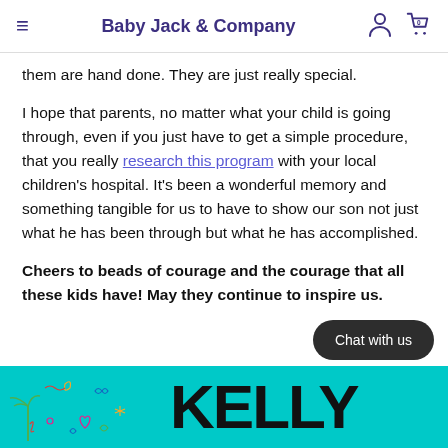Baby Jack & Company
them are hand done. They are just really special.
I hope that parents, no matter what your child is going through, even if you just have to get a simple procedure, that you really research this program with your local children’s hospital. It’s been a wonderful memory and something tangible for us to have to show our son not just what he has been through but what he has accomplished.
Cheers to beads of courage and the courage that all these kids have! May they continue to inspire us.
[Figure (illustration): Footer bar with colorful doodle illustrations (palm tree, crescent moon, heart, butterfly, etc.) on a teal background, followed by large bold text KELLY]